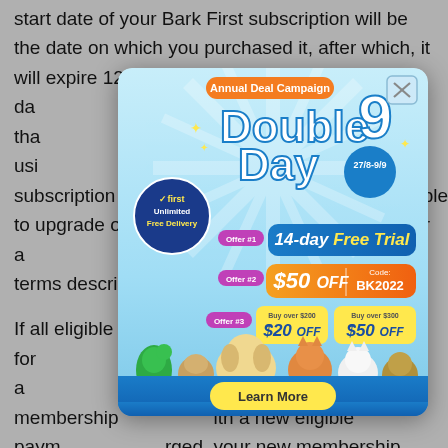start date of your Bark First subscription will be the date on which you purchased it, after which, it will expire 12 months after this da... renew, meaning tha... to continue usi... se another subscription... exchangeab... sible to upgrade or e... ription service for a... rst membership... the billing terms descri... ship.
[Figure (infographic): Popup ad for Annual Deal Campaign Double 9 Day (27/8-9/9) with offers: 14-day Free Trial (Offer #1), $50 OFF with Code BK2022 (Offer #2), Buy over $200 get $20 OFF / Buy over $300 get $50 OFF (Offer #3). Features First Unlimited Free Delivery badge and pet images (parrot, guinea pig, dog, cats). Learn More button at bottom.]
If all eligible... you are declined for... u must provide us a... tly or your membership... ith a new eligible paym... rged, your new membership period will be based on the original renewal date and not the date of the successful charge.